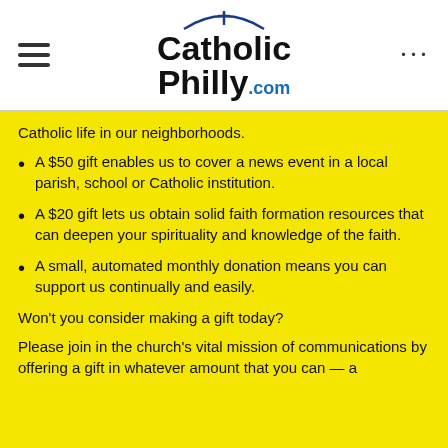[Figure (logo): CatholicPhilly.com logo with cross and arc above text]
Catholic life in our neighborhoods.
A $50 gift enables us to cover a news event in a local parish, school or Catholic institution.
A $20 gift lets us obtain solid faith formation resources that can deepen your spirituality and knowledge of the faith.
A small, automated monthly donation means you can support us continually and easily.
Won't you consider making a gift today?
Please join in the church's vital mission of communications by offering a gift in whatever amount that you can — a